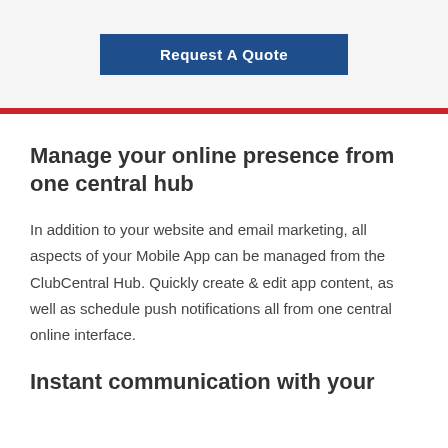[Figure (other): Blue 'Request A Quote' button on light gray background]
Manage your online presence from one central hub
In addition to your website and email marketing, all aspects of your Mobile App can be managed from the ClubCentral Hub. Quickly create & edit app content, as well as schedule push notifications all from one central online interface.
Instant communication with your